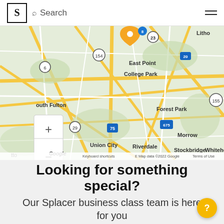S Search
[Figure (map): Google Maps screenshot showing Atlanta area including East Point, College Park, Forest Park, Morrow, Riverdale, Union City, Stockbridge, South Fulton, with map controls (+/-), a location pin marker, interstate shields (75, 675, 20, 278, 155, 154, 29, 23), and Google branding. Map data ©2022 Google. Keyboard shortcuts. Terms of Use.]
Looking for something special?
Our Splacer business class team is here for you